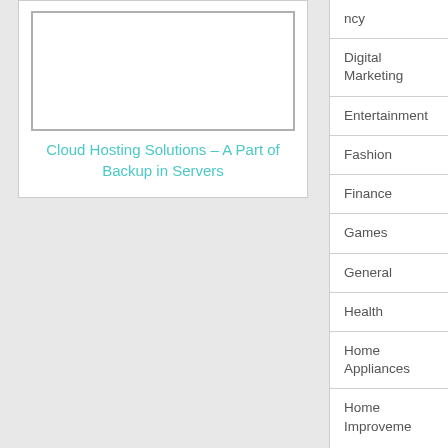[Figure (illustration): Article card with image placeholder and teal title text]
Cloud Hosting Solutions – A Part of Backup in Servers
ncy
Digital Marketing
Entertainment
Fashion
Finance
Games
General
Health
Home Appliances
Home Improveme